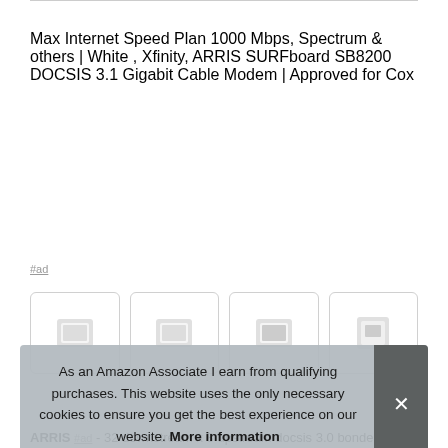Max Internet Speed Plan 1000 Mbps, Spectrum & others | White , Xfinity, ARRIS SURFboard SB8200 DOCSIS 3.1 Gigabit Cable Modem | Approved for Cox
#ad
[Figure (photo): Four product thumbnail images of ARRIS SURFboard modems in rounded rectangle boxes]
ARRIS #ad - 32 downstream x 8 upstream docsis 3.0 bonded
As an Amazon Associate I earn from qualifying purchases. This website uses the only necessary cookies to ensure you get the best experience on our website. More information